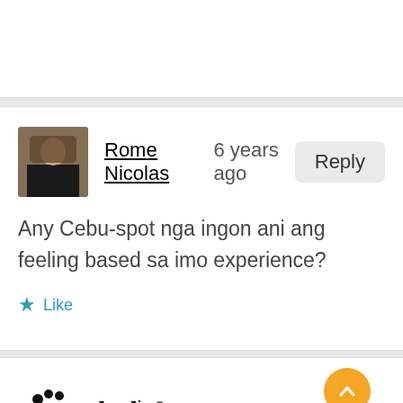[Figure (screenshot): Top portion of a comment card (partially visible, blank white area)]
Rome Nicolas  6 years ago
Any Cebu-spot nga ingon ani ang feeling based sa imo experience?
Like
[Figure (screenshot): Second comment card showing JunJi avatar (GNOME footprint icon) and username JunJi, 6 years ago, with scroll-up and close buttons partially visible]
JunJi  6 years ago
Advertisements